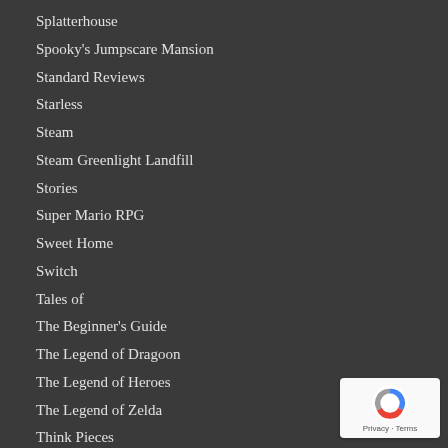Splatterhouse
Spooky's Jumpscare Mansion
Standard Reviews
Starless
Steam
Steam Greenlight Landfill
Stories
Super Mario RPG
Sweet Home
Switch
Tales of
The Beginner's Guide
The Legend of Dragoon
The Legend of Heroes
The Legend of Zelda
Think Pieces
Tokyo Clanpool
Uncategorized
Undertale
[Figure (logo): Google reCAPTCHA badge with blue/red/grey arrow icon and Privacy & Terms text]